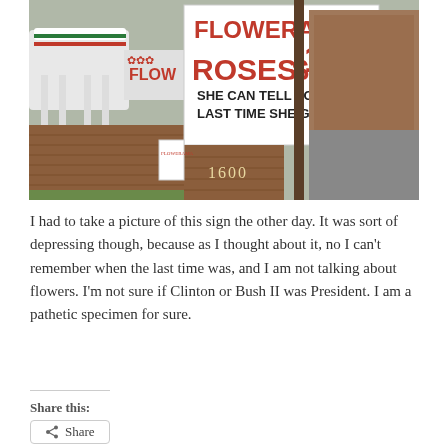[Figure (photo): Photo of a Flowerama flower shop with a large sign reading 'FLOWERAMA ROSES $14.99 SHE CAN TELL YOU THE LAST TIME SHE GOT SOME'. Address number 1600 visible on brick base. Brick building exterior, wooden utility pole, parking lot visible.]
I had to take a picture of this sign the other day. It was sort of depressing though, because as I thought about it, no I can't remember when the last time was, and I am not talking about flowers.  I'm not sure if Clinton or Bush II was President.   I am a pathetic specimen for sure.
Share this:
Share